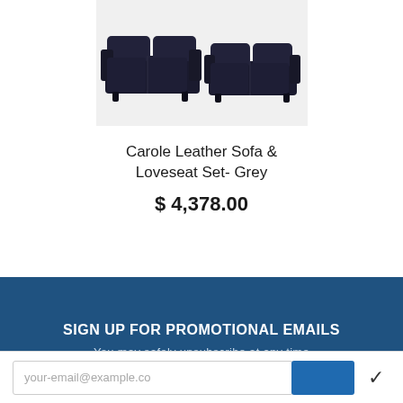[Figure (photo): Two dark navy/grey leather sofas (sofa and loveseat) photographed on a white background]
Carole Leather Sofa & Loveseat Set- Grey
$ 4,378.00
SIGN UP FOR PROMOTIONAL EMAILS
You may safely unsubscribe at any time
your-email@example.com